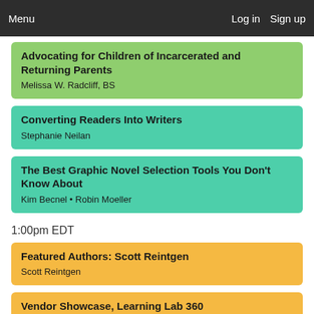Menu   Log in   Sign up
Advocating for Children of Incarcerated and Returning Parents — Melissa W. Radcliff, BS
Converting Readers Into Writers — Stephanie Neilan
The Best Graphic Novel Selection Tools You Don't Know About — Kim Becnel • Robin Moeller
1:00pm EDT
Featured Authors: Scott Reintgen — Scott Reintgen
Vendor Showcase, Learning Lab 360